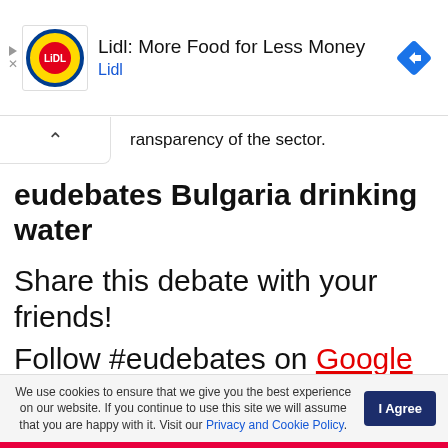[Figure (logo): Lidl advertisement banner with Lidl yellow/blue logo, text 'Lidl: More Food for Less Money' and 'Lidl', and a blue navigation diamond icon on the right]
ransparency of the sector.
eudebates Bulgaria drinking water
Share this debate with your friends!
Follow #eudebates on Google
We use cookies to ensure that we give you the best experience on our website. If you continue to use this site we will assume that you are happy with it. Visit our Privacy and Cookie Policy.